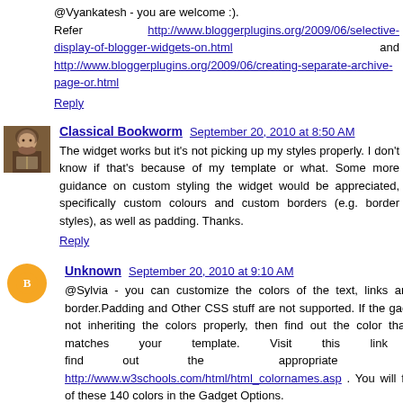@Vyankatesh - you are welcome :). Refer http://www.bloggerplugins.org/2009/06/selective-display-of-blogger-widgets-on.html and http://www.bloggerplugins.org/2009/06/creating-separate-archive-page-or.html
Reply
Classical Bookworm  September 20, 2010 at 8:50 AM
The widget works but it's not picking up my styles properly. I don't know if that's because of my template or what. Some more guidance on custom styling the widget would be appreciated, specifically custom colours and custom borders (e.g. border styles), as well as padding. Thanks.
Reply
Unknown  September 20, 2010 at 9:10 AM
@Sylvia - you can customize the colors of the text, links and the border.Padding and Other CSS stuff are not supported. If the gadget is not inheriting the colors properly, then find out the color that best matches your template. Visit this link and find out the appropriate colors http://www.w3schools.com/html/html_colornames.asp . You will find all of these 140 colors in the Gadget Options.